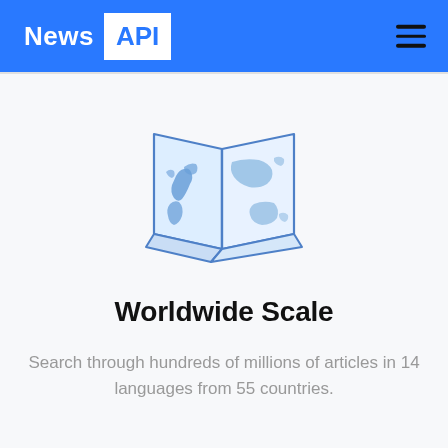News API
[Figure (illustration): A folded world map icon with blue outline and light blue continents on a white/light blue background]
Worldwide Scale
Search through hundreds of millions of articles in 14 languages from 55 countries.